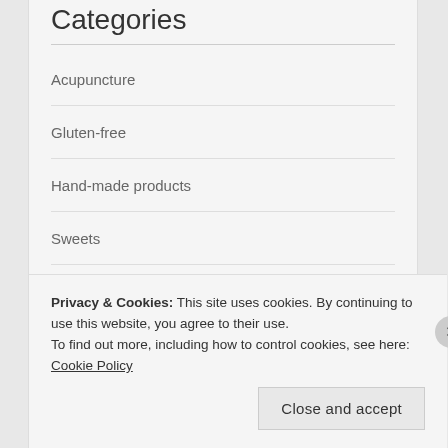Categories
Acupuncture
Gluten-free
Hand-made products
Sweets
Traditional Chinese Medicine
Travel
Privacy & Cookies: This site uses cookies. By continuing to use this website, you agree to their use.
To find out more, including how to control cookies, see here: Cookie Policy
Close and accept